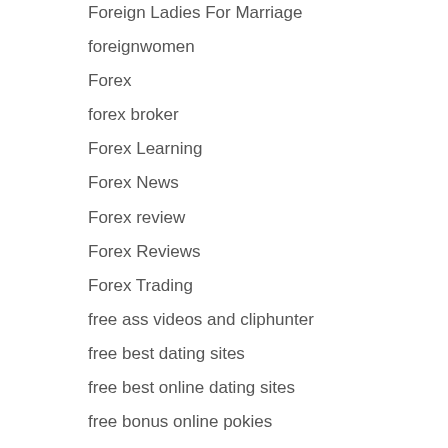Foreign Ladies For Marriage
foreignwomen
Forex
forex broker
Forex Learning
Forex News
Forex review
Forex Reviews
Forex Trading
free ass videos and cliphunter
free best dating sites
free best online dating sites
free bonus online pokies
Free Brazzers
Free Cupid
free dating sites in…